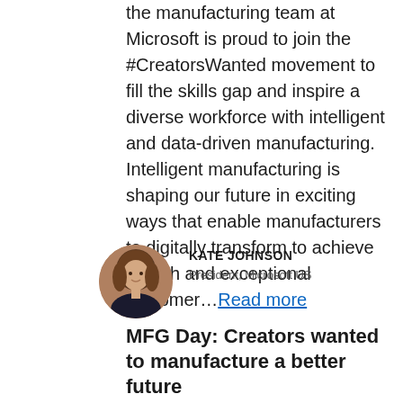the manufacturing team at Microsoft is proud to join the #CreatorsWanted movement to fill the skills gap and inspire a diverse workforce with intelligent and data-driven manufacturing. Intelligent manufacturing is shaping our future in exciting ways that enable manufacturers to digitally transform to achieve growth and exceptional customer...Read more
[Figure (photo): Circular profile photo of Kate Johnson, a woman with shoulder-length brown hair wearing a dark blazer]
KATE JOHNSON
President, Microsoft US
MFG Day: Creators wanted to manufacture a better future